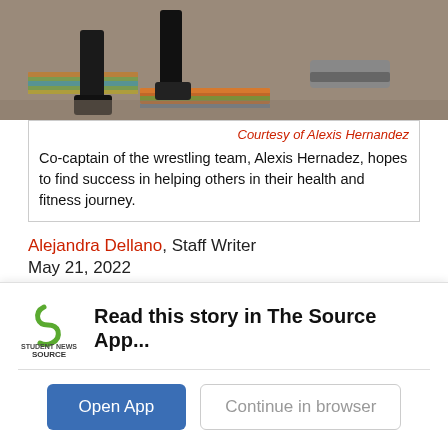[Figure (photo): Photo of legs/feet near wrestling mats and colorful cushions on the ground, cropped at top of page.]
Courtesy of Alexis Hernandez
Co-captain of the wrestling team, Alexis Hernadez, hopes to find success in helping others in their health and fitness journey.
Alejandra Dellano, Staff Writer
May 21, 2022
Senior Alexis Hernandez's passion for creating a healthy lifestyle for himself and inspiring others with his habits first sprouted when he was inspired to start
[Figure (screenshot): App download banner: 'Read this story in The Source App...' with Student News Source logo, Open App button, and Continue in browser button.]